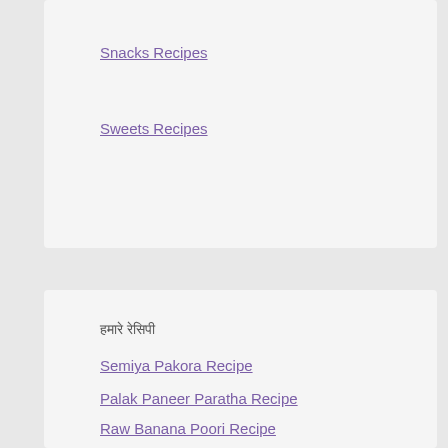Snacks Recipes
Sweets Recipes
हमारे रेसिपी
Semiya Pakora Recipe
Palak Paneer Paratha Recipe
Raw Banana Poori Recipe
Dahi Methi Puri Recipe
Aloo And Chana Dal ki Tikki Recipe